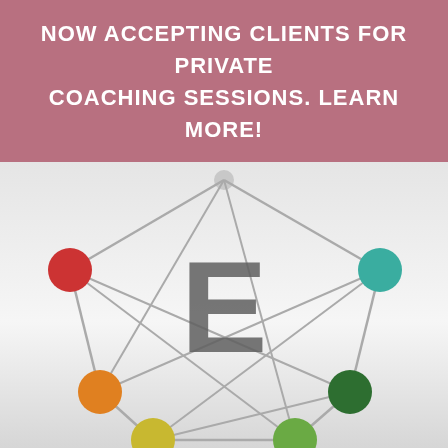NOW ACCEPTING CLIENTS FOR PRIVATE COACHING SESSIONS. LEARN MORE!
[Figure (infographic): Enneagram diagram with a large letter E in the center, connected nodes with colored circles: red (upper left), teal (upper right), orange (lower left), dark green (lower right), yellow-gold (bottom center-left), green (bottom center-right), and gray lines forming a star/polygon pattern.]
Does it ever feel challenging to work with certain people if it be a co-worker or a client?